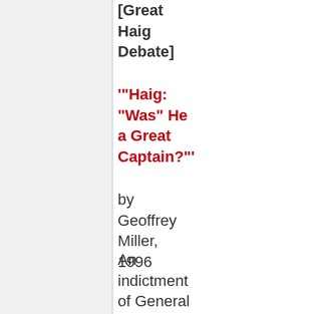[Great Haig Debate]
"'Haig: "Was" He a Great Captain?"'
by Geoffrey Miller, 1996
An indictment of General Haig. Part of the [Great Haig